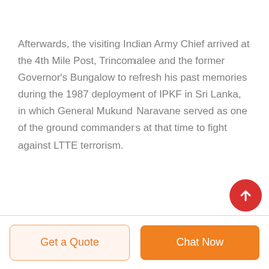Afterwards, the visiting Indian Army Chief arrived at the 4th Mile Post, Trincomalee and the former Governor's Bungalow to refresh his past memories during the 1987 deployment of IPKF in Sri Lanka, in which General Mukund Naravane served as one of the ground commanders at that time to fight against LTTE terrorism.
Get a Quote | Chat Now